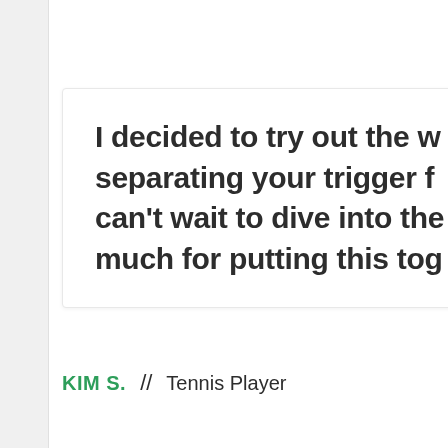I decided to try out the w... separating your trigger f... can't wait to dive into the... much for putting this tog...
KIM S.  //  Tennis Player